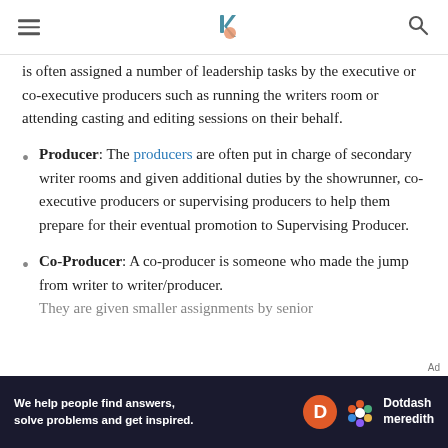[Navigation header with hamburger menu, logo, and search icon]
is often assigned a number of leadership tasks by the executive or co-executive producers such as running the writers room or attending casting and editing sessions on their behalf.
Producer: The producers are often put in charge of secondary writer rooms and given additional duties by the showrunner, co-executive producers or supervising producers to help them prepare for their eventual promotion to Supervising Producer.
Co-Producer: A co-producer is someone who made the jump from writer to writer/producer. They are given smaller assignments by senior...
We help people find answers, solve problems and get inspired. Dotdash meredith